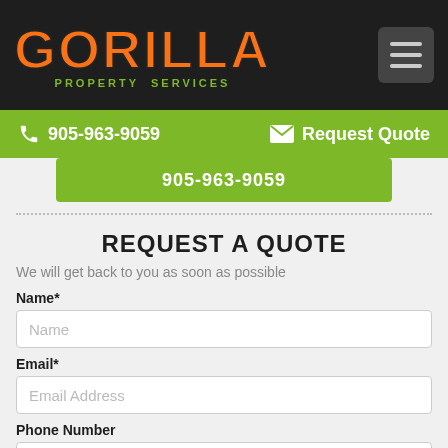GORILLA PROPERTY SERVICES
905-963-9059   Request Quote
905-963-9059
REQUEST A QUOTE
We will get back to you as soon as possible
Name*
Name
Email*
Email Address
Phone Number
Phone Number
Address